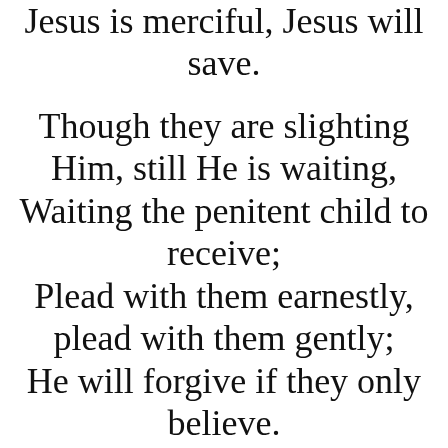Jesus is merciful, Jesus will save.
Though they are slighting Him, still He is waiting, Waiting the penitent child to receive; Plead with them earnestly, plead with them gently; He will forgive if they only believe.